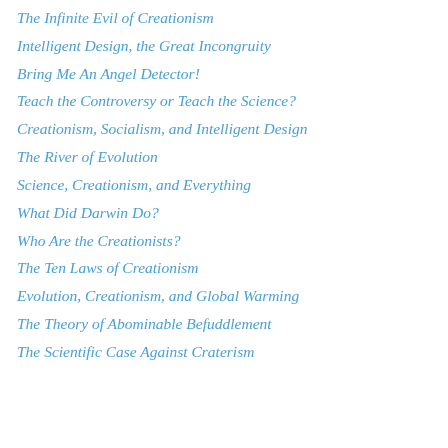The Infinite Evil of Creationism
Intelligent Design, the Great Incongruity
Bring Me An Angel Detector!
Teach the Controversy or Teach the Science?
Creationism, Socialism, and Intelligent Design
The River of Evolution
Science, Creationism, and Everything
What Did Darwin Do?
Who Are the Creationists?
The Ten Laws of Creationism
Evolution, Creationism, and Global Warming
The Theory of Abominable Befuddlement
The Scientific Case Against Craterism